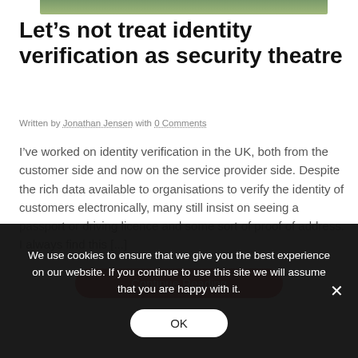[Figure (photo): Partial top of a photo showing green/outdoor scene, cropped at top of page]
Let’s not treat identity verification as security theatre
Written by Jonathan Jensen with 0 Comments
I’ve worked on identity verification in the UK, both from the customer side and now on the service provider side. Despite the rich data available to organisations to verify the identity of customers electronically, many still insist on seeing a passport or driving licence and some sort of proof of address. I always find this [...]
Continue Reading
We use cookies to ensure that we give you the best experience on our website. If you continue to use this site we will assume that you are happy with it.
OK